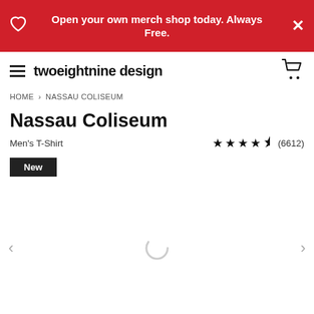Open your own merch shop today. Always Free.
twoeightnine design
HOME > NASSAU COLISEUM
Nassau Coliseum
Men's T-Shirt   ★★★★½ (6612)
New
[Figure (other): Loading spinner / product image carousel area with left and right navigation arrows]